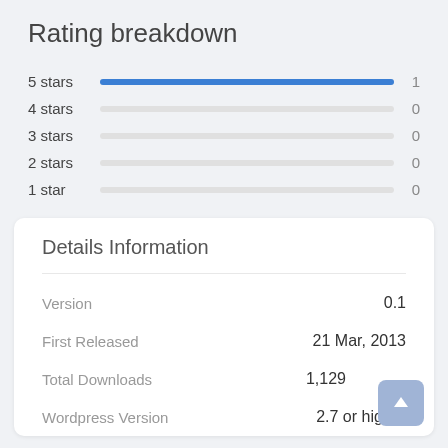Rating breakdown
| Rating | Bar | Count |
| --- | --- | --- |
| 5 stars | full | 1 |
| 4 stars | empty | 0 |
| 3 stars | empty | 0 |
| 2 stars | empty | 0 |
| 1 star | empty | 0 |
Details Information
| Field | Value |
| --- | --- |
| Version | 0.1 |
| First Released | 21 Mar, 2013 |
| Total Downloads | 1,129 |
| Wordpress Version | 2.7 or higher |